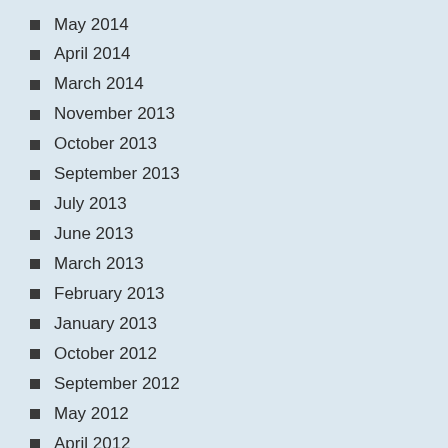May 2014
April 2014
March 2014
November 2013
October 2013
September 2013
July 2013
June 2013
March 2013
February 2013
January 2013
October 2012
September 2012
May 2012
April 2012
December 2011
November 2011